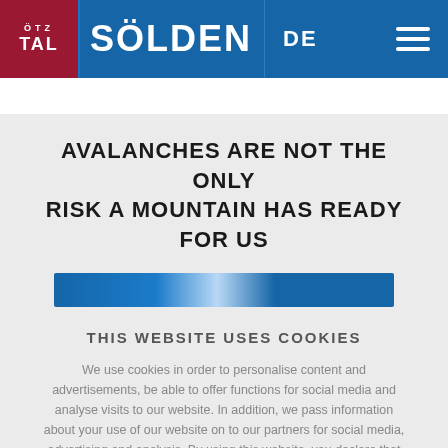[Figure (logo): Ötztal Sölden website header with dark red Ötztal logo, blue Sölden logo, DE language selector, and hamburger menu]
AVALANCHES ARE NOT THE ONLY RISK A MOUNTAIN HAS READY FOR US
[Figure (other): Blue banner/image strip with light reflection in center]
THIS WEBSITE USES COOKIES
We use cookies in order to personalise content and advertisements, be able to offer functions for social media and analyse visits to our website. In addition, we pass information about your use of our website on to our partners for social media, advertising and analysis. By using this website, you declare that you agree to the use of "Cookies". More details
CONTINUE